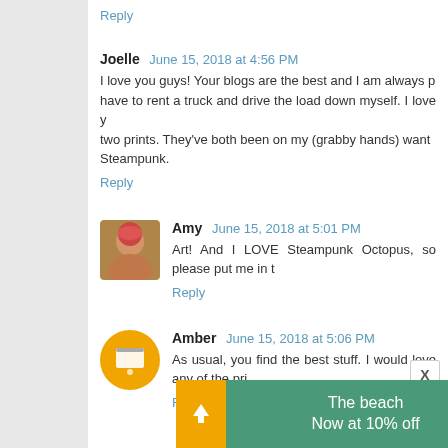Reply
Joelle  June 15, 2018 at 4:56 PM
I love you guys! Your blogs are the best and I am always p... have to rent a truck and drive the load down myself. I love y... two prints. They've both been on my (grabby hands) want... Steampunk.
Reply
Amy  June 15, 2018 at 5:01 PM
Art! And I LOVE Steampunk Octopus, so please put me in t...
Reply
Amber  June 15, 2018 at 5:06 PM
As usual, you find the best stuff. I would love any of the pri...
Reply
[Figure (infographic): Advertisement banner: beach travel promotion saying 'The beach Now at 10% off' with orange icon and beach background image]